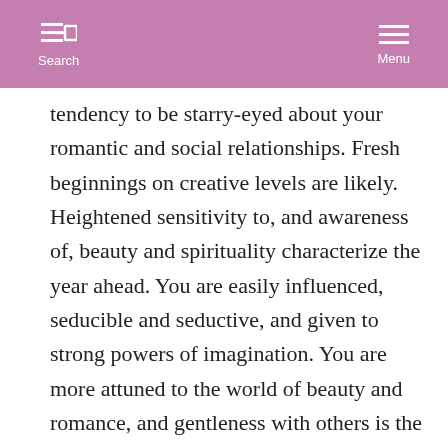Search  Menu
tendency to be starry-eyed about your romantic and social relationships. Fresh beginnings on creative levels are likely. Heightened sensitivity to, and awareness of, beauty and spirituality characterize the year ahead. You are easily influenced, seducible and seductive, and given to strong powers of imagination. You are more attuned to the world of beauty and romance, and gentleness with others is the best way to harness this energy. It can certainly be a magical time on a romantic and social level, but it could also be a confusing or illusory influence as well.

Mercury in harmonious aspect to Saturn and Uranus suggests constructive improvements in your mental world.